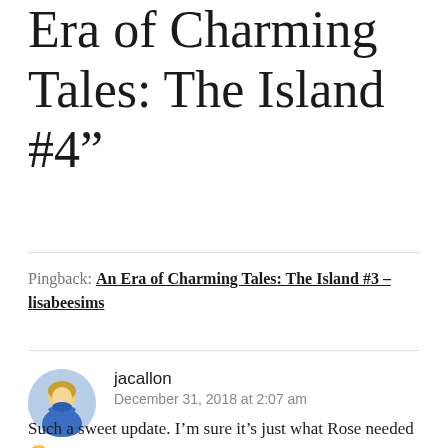Era of Charming Tales: The Island #4”
Pingback: An Era of Charming Tales: The Island #3 – lisabeesims
jacallon
December 31, 2018 at 2:07 am
Such a sweet update. I’m sure it’s just what Rose needed 🙂